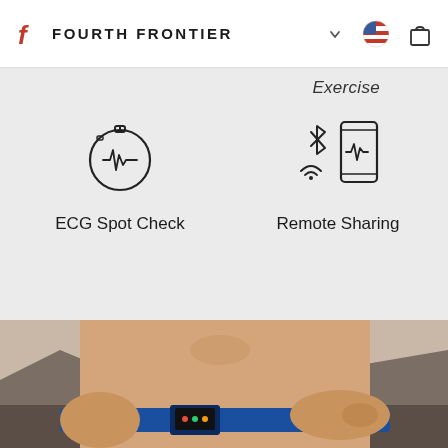Fourth Frontier
Exercise
[Figure (illustration): Icon: stopwatch with ECG heartbeat line inside]
ECG Spot Check
[Figure (illustration): Icon: bluetooth and wifi symbols next to a phone displaying ECG line]
Remote Sharing
[Figure (photo): Photo of a shirtless man running outdoors wearing a blue chest strap heart rate monitor with a small device. Rocky landscape visible in background.]